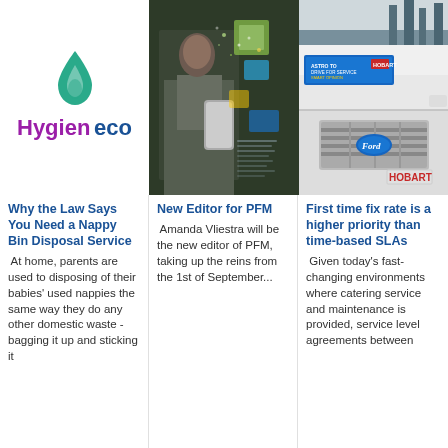[Figure (logo): Hygieneco logo with teal flame/leaf icon above the word Hygieneco in purple and blue]
[Figure (photo): Person in suit holding smartphone with digital information overlays/holograms]
[Figure (photo): Close-up of white Hobart service van, showing Ford logo and Hobart branding on grille and door]
Why the Law Says You Need a Nappy Bin Disposal Service
At home, parents are used to disposing of their babies' used nappies the same way they do any other domestic waste - bagging it up and sticking it
New Editor for PFM
Amanda Vliestra will be the new editor of PFM, taking up the reins from the 1st of September...
First time fix rate is a higher priority than time-based SLAs
Given today's fast-changing environments where catering service and maintenance is provided, service level agreements between